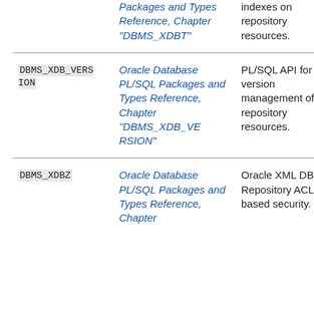| Package/Type | Reference | Description |
| --- | --- | --- |
| (continued row) | Oracle Database PL/SQL Packages and Types Reference, Chapter "DBMS_XDBT" | indexes on repository resources. |
| DBMS_XDB_VERSION | Oracle Database PL/SQL Packages and Types Reference, Chapter "DBMS_XDB_VERSION" | PL/SQL API for version management of repository resources. |
| DBMS_XDBZ | Oracle Database PL/SQL Packages and Types Reference, Chapter | Oracle XML DB Repository ACL-based security. |